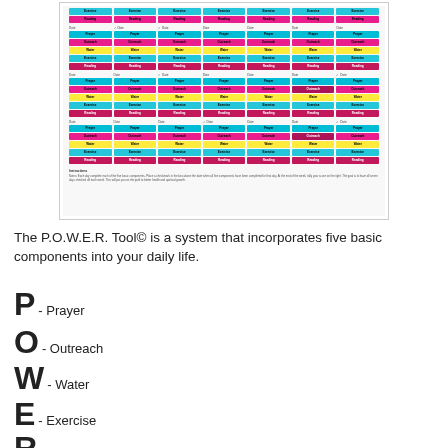[Figure (other): P.O.W.E.R. Tool tracker sheet showing a weekly habit tracker grid with colored rows for Prayer (cyan), Outreach (pink/magenta), Water (yellow), Exercise (green/blue), and Reading (purple/magenta), repeated across multiple weeks with day columns and checkboxes.]
The P.O.W.E.R. Tool© is a system that incorporates five basic components into your daily life.
P - Prayer
O - Outreach
W - Water
E - Exercise
R - Reading God's Word